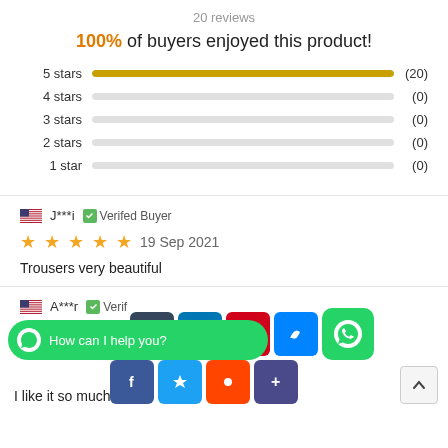20 reviews
100% of buyers enjoyed this product!
[Figure (bar-chart): Star rating distribution]
J***i  Verifed Buyer
19 Sep 2021
Trousers very beautiful
A***r  Verified Buyer
I like it so much ...
[Figure (screenshot): Social share buttons overlay: Tumblr, LinkedIn, email, Messenger, WhatsApp icon buttons, and a WhatsApp chat bar reading 'How can I help you?', plus a second row of share buttons (Facebook, bookmark, Reddit, plus) and a scroll-up arrow button.]